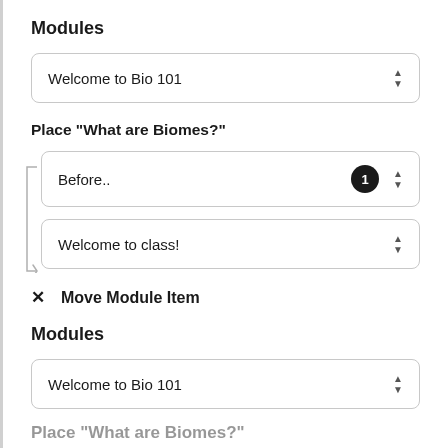Modules
[Figure (screenshot): Dropdown selector showing 'Welcome to Bio 101' with up/down arrows]
Place "What are Biomes?"
[Figure (screenshot): Dropdown showing 'Before..' with badge number 1, and below it 'Welcome to class!' with bracket connector indicating placement position]
× Move Module Item
Modules
[Figure (screenshot): Dropdown selector showing 'Welcome to Bio 101' with up/down arrows]
Place "What are Biomes?"